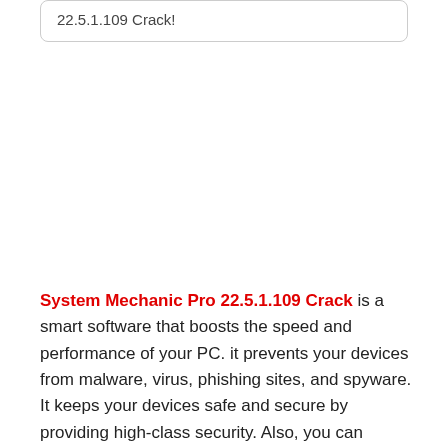22.5.1.109 Crack!
System Mechanic Pro 22.5.1.109 Crack is a smart software that boosts the speed and performance of your PC. it prevents your devices from malware, virus, phishing sites, and spyware. It keeps your devices safe and secure by providing high-class security. Also, you can recover your lost data using